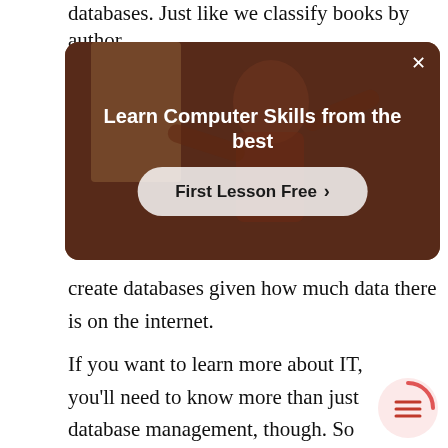databases. Just like we classify books by author
[Figure (screenshot): Advertisement banner with dark warm background showing a person, white bold text 'Learn Computer Skills from the best', and a pill-shaped button 'First Lesson Free >' with a close X button in the top right corner.]
create databases given how much data there is on the internet.
If you want to learn more about IT, you'll need to know more than just database management, though. So why not take some IT courses to learn more about computers?